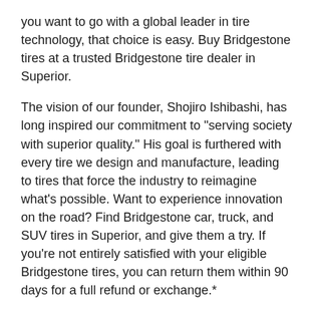you want to go with a global leader in tire technology, that choice is easy. Buy Bridgestone tires at a trusted Bridgestone tire dealer in Superior.
The vision of our founder, Shojiro Ishibashi, has long inspired our commitment to "serving society with superior quality." His goal is furthered with every tire we design and manufacture, leading to tires that force the industry to reimagine what's possible. Want to experience innovation on the road? Find Bridgestone car, truck, and SUV tires in Superior, and give them a try. If you're not entirely satisfied with your eligible Bridgestone tires, you can return them within 90 days for a full refund or exchange.*
Get to know the types of Bridgestone tires for sale in Superior and where to find a Bridgestone tire dealer near you.
TYPES OF BRIDGESTONE TIRES FOR SALE IN SUPERIOR, WI